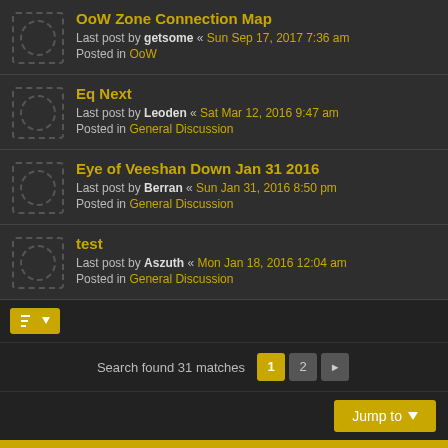OoW Zone Connection Map — Last post by getsome « Sun Sep 17, 2017 7:36 am — Posted in OoW
Eq Next — Last post by Leoden « Sat Mar 12, 2016 9:47 am — Posted in General Discussion
Eye of Veeshan Down Jan 31 2016 — Last post by Berran « Sun Jan 31, 2016 8:50 pm — Posted in General Discussion
test — Last post by Aszuth « Mon Jan 18, 2016 12:04 am — Posted in General Discussion
Search found 31 matches
Home > Board index | The team
Powered by phpBB® Forum Software © phpBB Limited — Style by Arty - Update phpBB 3.2 by MrGaby